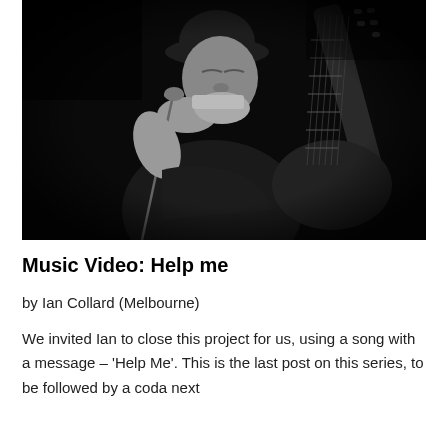[Figure (photo): Black and white photograph of a musician (Ian Collard) playing harmonica at a microphone stand while holding an acoustic guitar. He is wearing a dark cap and dark clothing, with eyes closed, performing on stage.]
Music Video: Help me
by Ian Collard (Melbourne)
We invited Ian to close this project for us, using a song with a message – 'Help Me'. This is the last post on this series, to be followed by a coda next